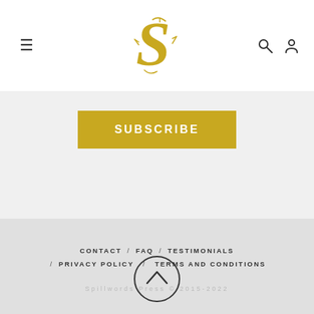[Figure (logo): Spillwords Press logo: stylized golden S with decorative serif elements]
SUBSCRIBE
CONTACT / FAQ / TESTIMONIALS / PRIVACY POLICY / TERMS AND CONDITIONS
Spillwords Press © 2015-2022